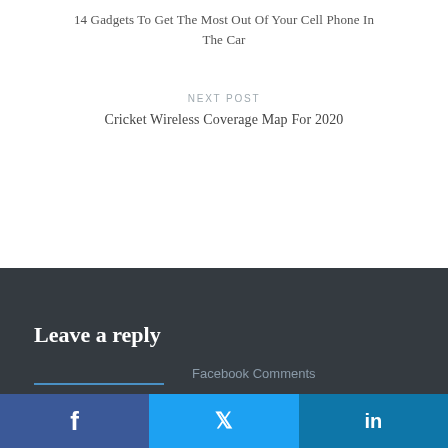14 Gadgets To Get The Most Out Of Your Cell Phone In The Car
NEXT POST
Cricket Wireless Coverage Map For 2020
Leave a reply
Facebook Comments
Facebook | Twitter | LinkedIn